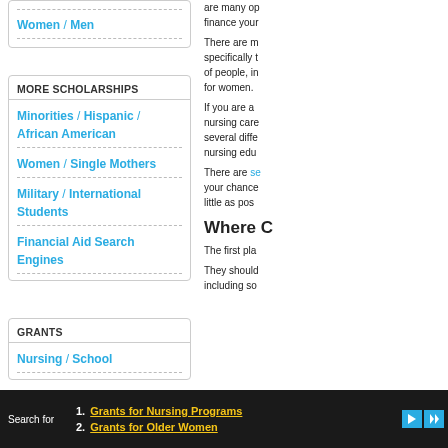Women / Men
MORE SCHOLARSHIPS
Minorities / Hispanic / African American
Women / Single Mothers
Military / International Students
Financial Aid Search Engines
GRANTS
Nursing / School
are many op finance your
There are m specifically t of people, in for women.
If you are a nursing care several diffe nursing edu
There are se your chance little as pos
Where C
The first pla
They should including so
Search for
1. Grants for Nursing Programs
2. Grants for Older Women